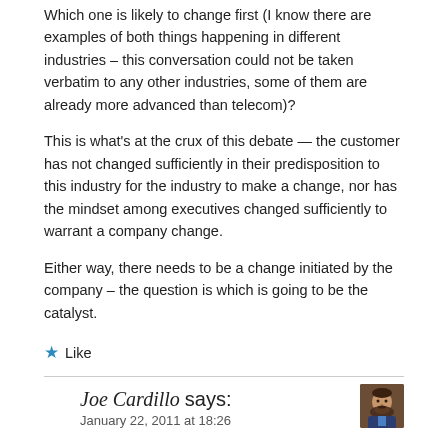Which one is likely to change first (I know there are examples of both things happening in different industries – this conversation could not be taken verbatim to any other industries, some of them are already more advanced than telecom)?
This is what's at the crux of this debate — the customer has not changed sufficiently in their predisposition to this industry for the industry to make a change, nor has the mindset among executives changed sufficiently to warrant a company change.
Either way, there needs to be a change initiated by the company – the question is which is going to be the catalyst.
★ Like
Joe Cardillo says:
January 22, 2011 at 18:26